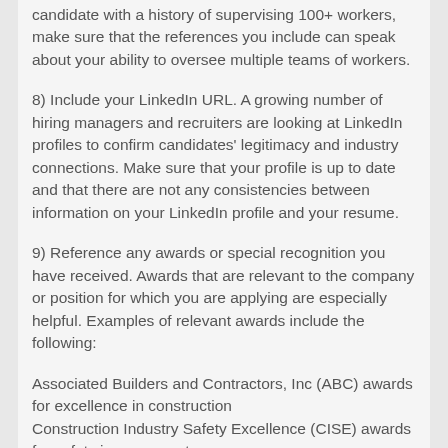candidate with a history of supervising 100+ workers, make sure that the references you include can speak about your ability to oversee multiple teams of workers.
8) Include your LinkedIn URL. A growing number of hiring managers and recruiters are looking at LinkedIn profiles to confirm candidates' legitimacy and industry connections. Make sure that your profile is up to date and that there are not any consistencies between information on your LinkedIn profile and your resume.
9) Reference any awards or special recognition you have received. Awards that are relevant to the company or position for which you are applying are especially helpful. Examples of relevant awards include the following:
Associated Builders and Contractors, Inc (ABC) awards for excellence in construction
Construction Industry Safety Excellence (CISE) awards for safety improvements
Any local or state awards received for outstanding